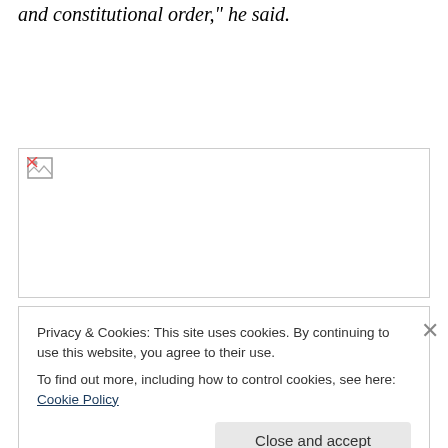and constitutional order," he said.
[Figure (photo): Broken/missing image placeholder with small broken image icon in upper left corner]
Privacy & Cookies: This site uses cookies. By continuing to use this website, you agree to their use.
To find out more, including how to control cookies, see here: Cookie Policy
Close and accept